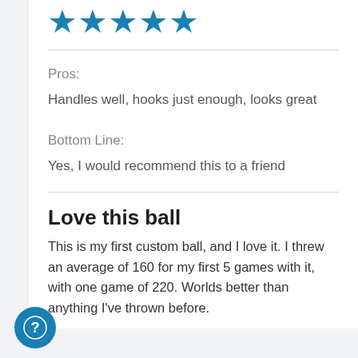[Figure (other): Five filled blue star icons representing a 5-star rating]
Pros:
Handles well, hooks just enough, looks great
Bottom Line:
Yes, I would recommend this to a friend
Love this ball
This is my first custom ball, and I love it. I threw an average of 160 for my first 5 games with it, with one game of 220. Worlds better than anything I've thrown before.
[Figure (illustration): Blue circular help/chat button with a question mark icon, positioned in bottom-left corner]